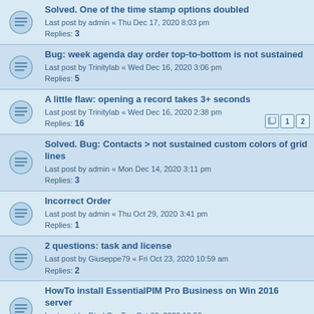Solved. One of the time stamp options doubled
Last post by admin « Thu Dec 17, 2020 8:03 pm
Replies: 3
Bug: week agenda day order top-to-bottom is not sustained
Last post by Trinitylab « Wed Dec 16, 2020 3:06 pm
Replies: 5
A little flaw: opening a record takes 3+ seconds
Last post by Trinitylab « Wed Dec 16, 2020 2:38 pm
Replies: 16
Solved. Bug: Contacts > not sustained custom colors of grid lines
Last post by admin « Mon Dec 14, 2020 3:11 pm
Replies: 3
Incorrect Order
Last post by admin « Thu Oct 29, 2020 3:41 pm
Replies: 1
2 questions: task and license
Last post by Giuseppe79 « Fri Oct 23, 2020 10:59 am
Replies: 2
HowTo install EssentialPIM Pro Business on Win 2016 server
Last post by DierkO « Tue Oct 06, 2020 10:52 am
Replies: 4
Very Concerned About Cloud Service
Last post by admin « Thu Sep 24, 2020 7:33 am
Replies: 1
Does EPIM Sync With Outlook Attachments?
Last post by admin « Thu Sep 10, 2020 3:55 pm